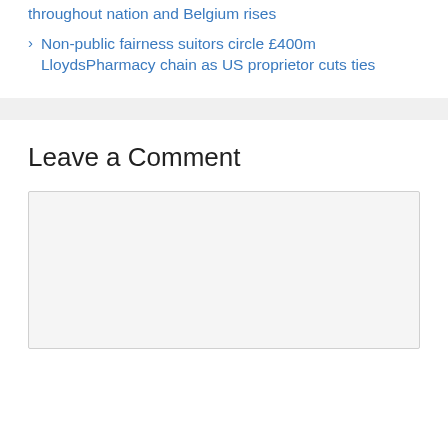throughout nation and Belgium rises
Non-public fairness suitors circle £400m LloydsPharmacy chain as US proprietor cuts ties
Leave a Comment